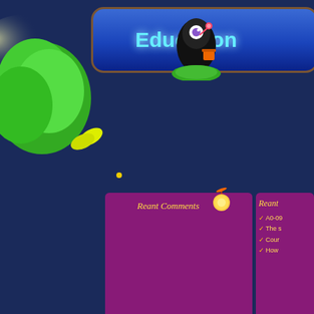[Figure (screenshot): Colorful educational website screenshot with anime character, trees, navigation bar, and blog post about visiting an online store]
Education
Reant Comments
Reant (cut off)
A0-09...
The s...
Cour...
How...
Главная    Contents
Вы находитесь здесь: Главная > Education > Please yourself or your a... store
14
Ноябрь
2011
Please yourself or your animal by visiting an on...
Please Yourself Or you...